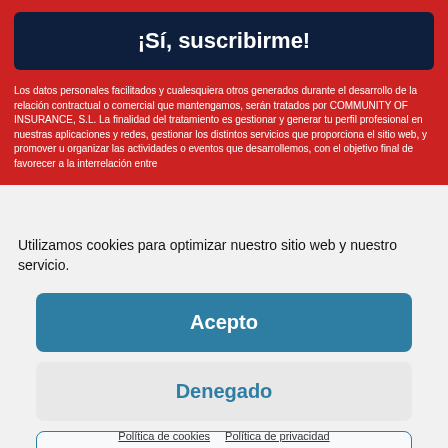¡Sí, suscribirme!
Los datos personales facilitados y cualesquiera otros generados durante el desarrollo de la relación contractual o comercial que mantengamos, serán tratados por COMMUNITY OF INSURANCE, S.L. La finalidad del tratamiento es gestionar y generar tu perfil profesional en nuestras aplicaciones y redes, gestionar los distintos servicios que proporciona el sitio web, y promover u organizar las actividades o eventos que desarrollemos, con el objetivo final de favorecer a la interrelación entre...
Utilizamos cookies para optimizar nuestro sitio web y nuestro servicio.
Acepto
Denegado
Preferencias
Política de cookies   Política de privacidad